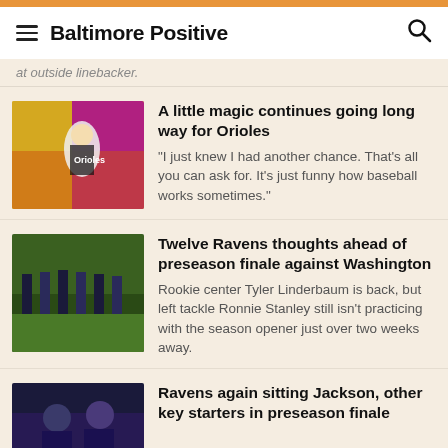Baltimore Positive
at outside linebacker.
[Figure (photo): Baltimore Orioles baseball player running in uniform]
A little magic continues going long way for Orioles
“I just knew I had another chance. That’s all you can ask for. It’s just funny how baseball works sometimes.”
[Figure (photo): Ravens players at practice on a green field]
Twelve Ravens thoughts ahead of preseason finale against Washington
Rookie center Tyler Linderbaum is back, but left tackle Ronnie Stanley still isn't practicing with the season opener just over two weeks away.
[Figure (photo): Ravens players on the sideline in dark uniforms]
Ravens again sitting Jackson, other key starters in preseason finale